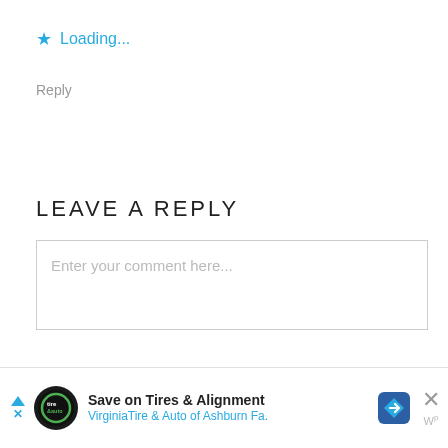★ Loading...
Reply
LEAVE A REPLY
Enter your comment here...
[Figure (screenshot): Ad banner: Save on Tires & Alignment - VirginiaTire & Auto of Ashburn Fa. with logo and road sign icon, close button with X and wp logo]
Save on Tires & Alignment
VirginiaTire & Auto of Ashburn Fa.